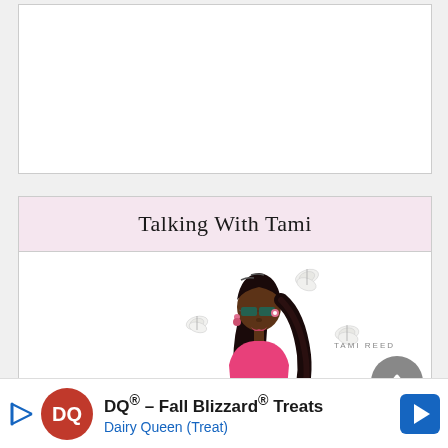[Figure (other): White rectangular box area — top content placeholder region]
Talking With Tami
[Figure (illustration): Illustrated cartoon woman with long dark hair, sunglasses, pink outfit, surrounded by white butterflies. Partial view. 'TAMI REED' text visible at bottom right.]
[Figure (other): Gray circular back-to-top arrow button in lower right]
X
DQ® – Fall Blizzard® Treats Dairy Queen (Treat)